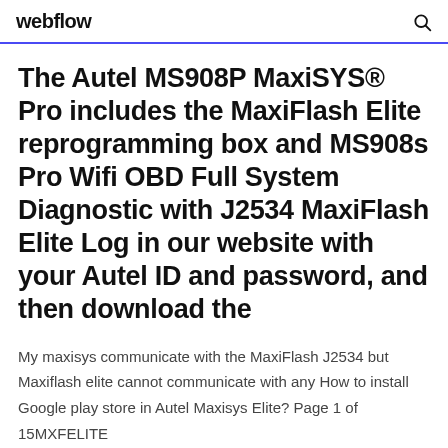webflow
The Autel MS908P MaxiSYS® Pro includes the MaxiFlash Elite reprogramming box and MS908s Pro Wifi OBD Full System Diagnostic with J2534 MaxiFlash Elite Log in our website with your Autel ID and password, and then download the
My maxisys communicate with the MaxiFlash J2534 but Maxiflash elite cannot communicate with any How to install Google play store in Autel Maxisys Elite? Page 1 of 15MXFELITE